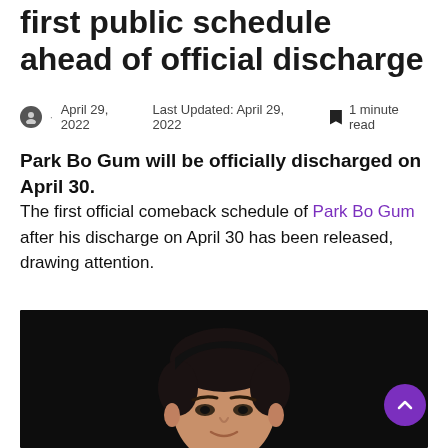first public schedule ahead of official discharge
April 29, 2022  Last Updated: April 29, 2022  1 minute read
Park Bo Gum will be officially discharged on April 30.
The first official comeback schedule of Park Bo Gum after his discharge on April 30 has been released, drawing attention.
[Figure (photo): Photo of Park Bo Gum, a Korean actor, shown from the shoulders up against a dark/black background. He has dark short hair styled upward and is looking forward.]